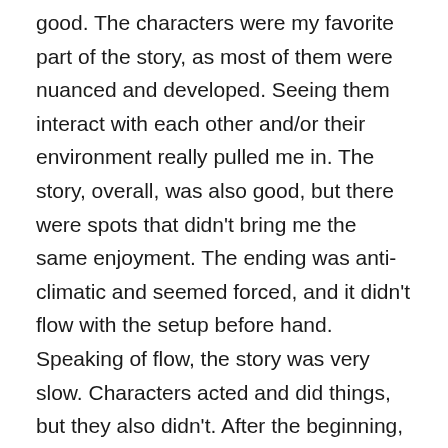good. The characters were my favorite part of the story, as most of them were nuanced and developed. Seeing them interact with each other and/or their environment really pulled me in. The story, overall, was also good, but there were spots that didn't bring me the same enjoyment. The ending was anti-climatic and seemed forced, and it didn't flow with the setup before hand. Speaking of flow, the story was very slow. Characters acted and did things, but they also didn't. After the beginning, nothing really happened conflict wise. It all seemed like set up without much driving force aside from the attraction to the two fractions. In context with the story, it makes sense, but it still seemed boring at points where characters either weren't developing or were just there for a purely plot reason. Still recommend a read (especially with how it connects with his other works), but not the best I've read